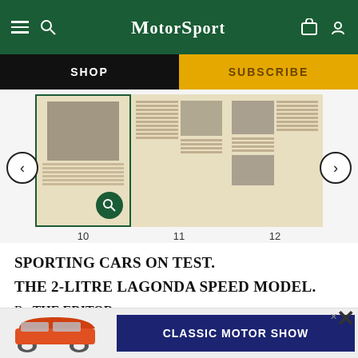Motor Sport
[Figure (screenshot): Magazine carousel showing pages 10, 11, and 12 of a Motor Sport archive issue with navigation arrows]
SPORTING CARS ON TEST.
THE 2-LITRE LAGONDA SPEED MODEL.
By THE EDITOR.
[Figure (photo): Advertisement banner with a Porsche 911 image and Classic Motor Show text]